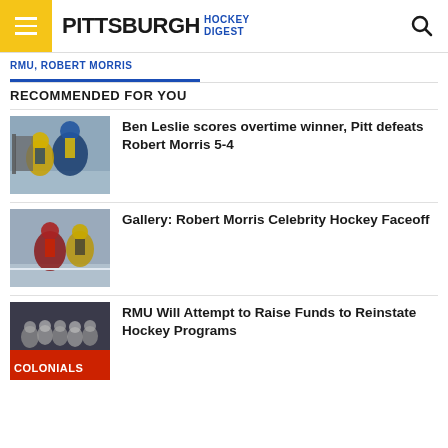Pittsburgh Hockey Digest
RMU, ROBERT MORRIS
RECOMMENDED FOR YOU
[Figure (photo): Hockey players on ice, game action shot with players in blue and yellow uniforms near goal]
Ben Leslie scores overtime winner, Pitt defeats Robert Morris 5-4
[Figure (photo): Hockey players on ice, action shot with players in dark and gold uniforms]
Gallery: Robert Morris Celebrity Hockey Faceoff
[Figure (photo): Group of hockey players and fans with COLONIALS banner visible]
RMU Will Attempt to Raise Funds to Reinstate Hockey Programs